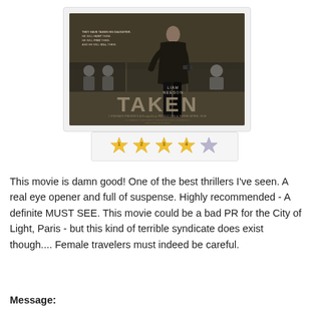[Figure (photo): Movie poster for 'Taken' featuring Liam Neeson in a dark suit holding a gun, with the film title 'TAKEN' in large letters and smaller scene images in the background]
[Figure (other): Star rating widget showing 4 out of 5 stars filled (gold) and 1 empty (grey), with numbers 1-4 on the filled stars]
This movie is damn good! One of the best thrillers I've seen. A real eye opener and full of suspense. Highly recommended - A definite MUST SEE. This movie could be a bad PR for the City of Light, Paris - but this kind of terrible syndicate does exist though.... Female travelers must indeed be careful.
Message: